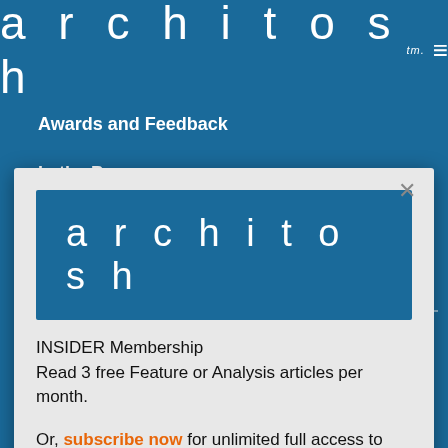architosh tm.
Awards and Feedback
In the Press
Newsroom
[Figure (logo): Architosh logo — white lowercase 'architosh' text on a blue rectangle background inside a modal dialog]
INSIDER Membership
Read 3 free Feature or Analysis articles per month.
Or, subscribe now for unlimited full access to Architosh.